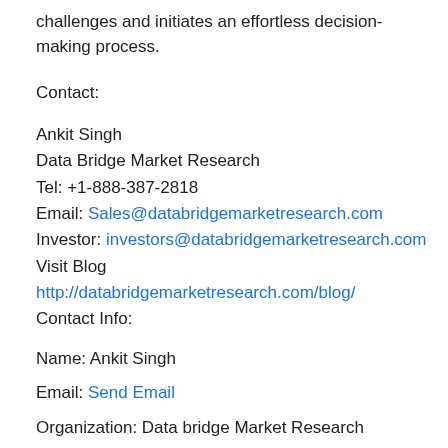challenges and initiates an effortless decision-making process.
Contact:
Ankit Singh
Data Bridge Market Research
Tel: +1-888-387-2818
Email: Sales@databridgemarketresearch.com
Investor: investors@databridgemarketresearch.com
Visit Blog
http://databridgemarketresearch.com/blog/
Contact Info:
Name: Ankit Singh
Email: Send Email
Organization: Data bridge Market Research